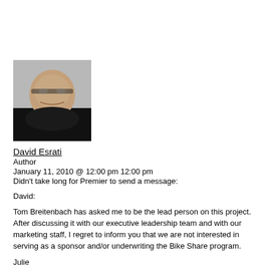[Figure (photo): Headshot photo of David Esrati, a middle-aged man with glasses and dark clothing]
David Esrati
Author
January 11, 2010 @ 12:00 pm 12:00 pm
Didn't take long for Premier to send a message:
David:
Tom Breitenbach has asked me to be the lead person on this project.  After discussing it with our executive leadership team and with our marketing staff, I regret to inform you that we are not interested in serving as a sponsor and/or underwriting the Bike Share program.
Julie
Julie Liss-Katz
Director, Public Affairs